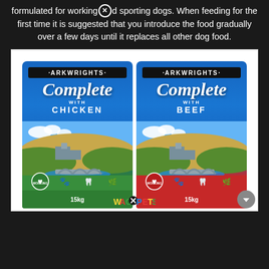formulated for working⊗d sporting dogs. When feeding for the first time it is suggested that you introduce the food gradually over a few days until it replaces all other dog food.
[Figure (photo): Two Arkwrights Complete dog food bags side by side: one green 'Complete with Chicken' 15kg and one red 'Complete with Beef' 15kg, both showing a countryside scene with a stone bridge, village and hills. Wag⊗Pets logo and paw print at the bottom.]